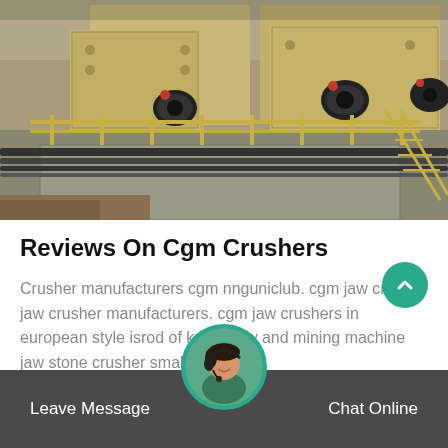[Figure (photo): Industrial crusher and conveyor machinery at a mining/quarrying site. Large yellow/beige metal crushing machines with black motors and red accents, steel walkways, concrete platform, conveyor belts, and ladders visible.]
Reviews On Cgm Crushers
Crusher manufacturers cgm nnguniclub. cgm jaw crusher jaw crusher manufacturers. cgm jaw crushers in european style isrod of know how and mining machine jaw stone crusher small rock p
GET PRICE
Leave Message
Chat Online